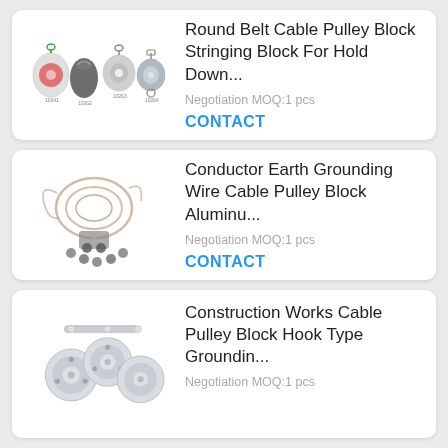[Figure (photo): Multiple cable pulley block products displayed side by side]
Round Belt Cable Pulley Block Stringing Block For Hold Down...
Negotiation MOQ:1 pcs
CONTACT
[Figure (photo): Conductor earth grounding wire cable pulley block with aluminum components]
Conductor Earth Grounding Wire Cable Pulley Block Aluminu...
Negotiation MOQ:1 pcs
CONTACT
[Figure (photo): Construction works cable pulley block hook type grounding product]
Construction Works Cable Pulley Block Hook Type Groundin...
Negotiation MOQ:1 pcs